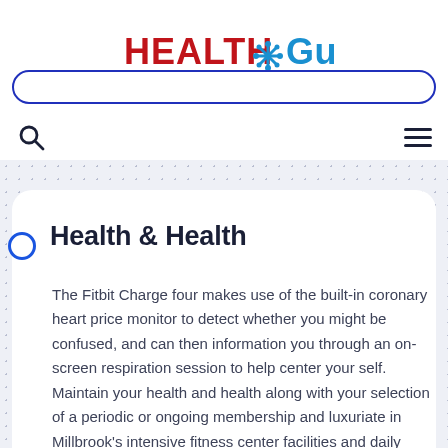[Figure (logo): HealthGun logo with blue snowflake/asterisk icon, red HEALTH text and blue Gun text, tagline Health For Family]
search bar and navigation toolbar with search icon and hamburger menu
Health & Health
The Fitbit Charge four makes use of the built-in coronary heart price monitor to detect whether you might be confused, and can then information you through an on-screen respiration session to help center your self. Maintain your health and health along with your selection of a periodic or ongoing membership and luxuriate in Millbrook's intensive fitness center facilities and daily group fitness classes. Take benefit of our